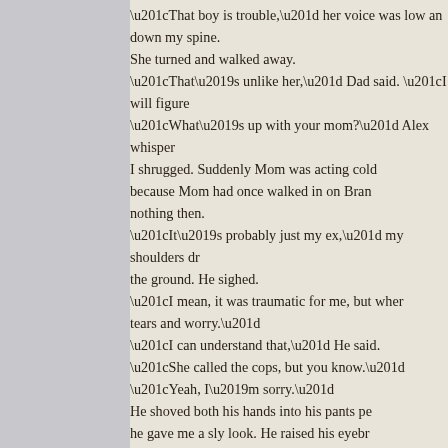“That boy is trouble,” her voice was low an down my spine.
She turned and walked away.
“That’s unlike her,” Dad said. “I will figure “What’s up with your mom?” Alex whisper I shrugged. Suddenly Mom was acting cold because Mom had once walked in on Bran nothing then.
“It’s probably just my ex,” my shoulders dr the ground. He sighed.
“I mean, it was traumatic for me, but wher tears and worry.”
“I can understand that,” He said.
“She called the cops, but you know.”
“Yeah, I’m sorry.”
He shoved both his hands into his pants pe he gave me a sly look. He raised his eyebr between us. Pulling me close, he stared do “So, its time for me to shower up and get